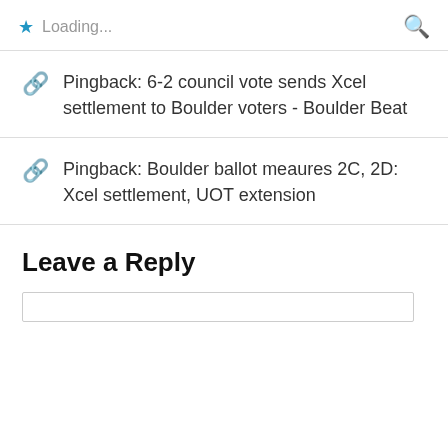Loading...
Pingback: 6-2 council vote sends Xcel settlement to Boulder voters - Boulder Beat
Pingback: Boulder ballot meaures 2C, 2D: Xcel settlement, UOT extension
Leave a Reply